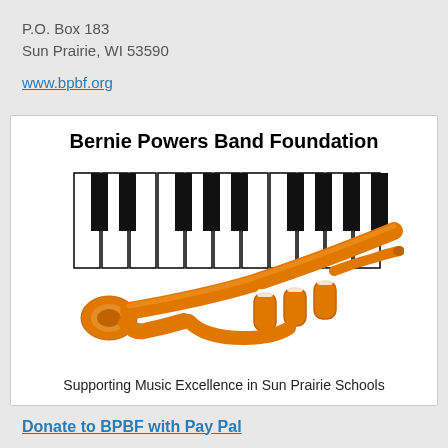P.O. Box 183
Sun Prairie, WI 53590
www.bpbf.org
[Figure (logo): Bernie Powers Band Foundation logo featuring piano keys and an orange trumpet, with tagline 'Supporting Music Excellence in Sun Prairie Schools']
Donate to BPBF with Pay Pal